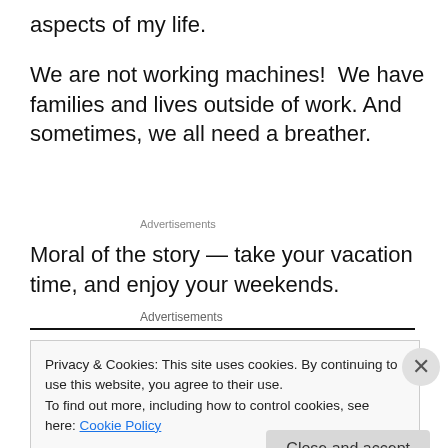aspects of my life.
We are not working machines!  We have families and lives outside of work. And sometimes, we all need a breather.
Advertisements
Moral of the story — take your vacation time, and enjoy your weekends.
Advertisements
Privacy & Cookies: This site uses cookies. By continuing to use this website, you agree to their use.
To find out more, including how to control cookies, see here: Cookie Policy
Close and accept